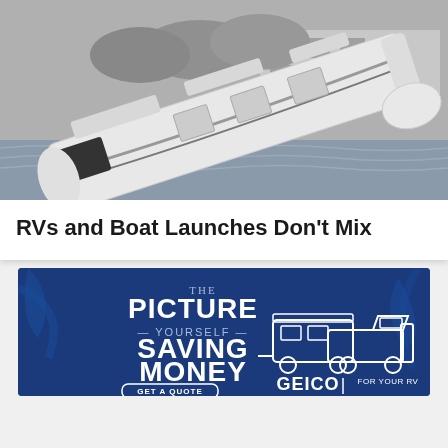[Figure (photo): A large white RV motorhome partially submerged and sinking in water near a boat launch, with a building visible in the background. Black and white/muted tone photo.]
RVs and Boat Launches Don't Mix
[Figure (infographic): GEICO advertisement with dark blue background featuring text 'PICTURE YOURSELF SAVING MONEY' with a 'GET A QUOTE' button, and an illustration of a truck towing an RV trailer, with 'GEICO | FOR YOUR RV' text.]